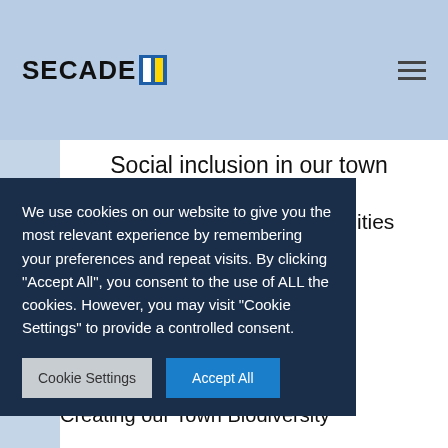SECADE [logo icon]
Social inclusion in our town
Integration of new communities
nt:
n make a own level
gn
Creating our Town Biodiversity
We use cookies on our website to give you the most relevant experience by remembering your preferences and repeat visits. By clicking "Accept All", you consent to the use of ALL the cookies. However, you may visit "Cookie Settings" to provide a controlled consent.
Cookie Settings | Accept All